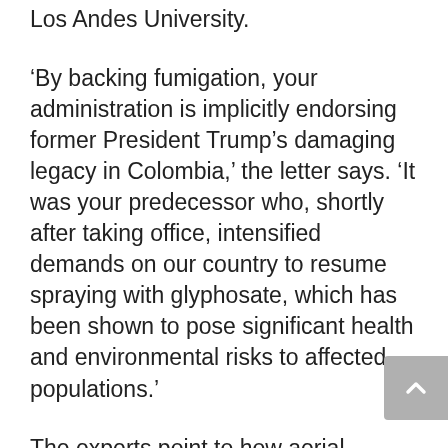Los Andes University.
'By backing fumigation, your administration is implicitly endorsing former President Trump's damaging legacy in Colombia,' the letter says. 'It was your predecessor who, shortly after taking office, intensified demands on our country to resume spraying with glyphosate, which has been shown to pose significant health and environmental risks to affected populations.'
The experts point to how aerial spraying with glyphosate can cause serious health problems, such as cancer, miscarriages, and respiratory illness, and environmental destruction'biodiversity loss, soil damage,